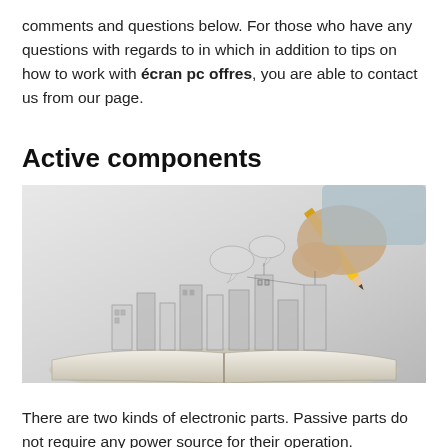comments and questions below. For those who have any questions with regards to in which in addition to tips on how to work with écran pc offres, you are able to contact us from our page.
Active components
[Figure (photo): A hand holding a pencil drawing architectural and engineering sketches rising from an open book, with speech bubbles and building outlines drawn in pencil on a light gray background.]
There are two kinds of electronic parts. Passive parts do not require any power source for their operation.